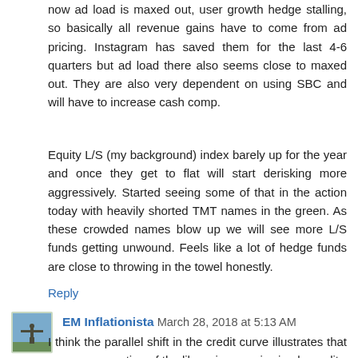now ad load is maxed out, user growth hedge stalling, so basically all revenue gains have to come from ad pricing. Instagram has saved them for the last 4-6 quarters but ad load there also seems close to maxed out. They are also very dependent on using SBC and will have to increase cash comp.
Equity L/S (my background) index barely up for the year and once they get to flat will start derisking more aggressively. Started seeing some of that in the action today with heavily shorted TMT names in the green. As these crowded names blow up we will see more L/S funds getting unwound. Feels like a lot of hedge funds are close to throwing in the towel honestly.
Reply
EM Inflationista  March 28, 2018 at 5:13 AM
I think the parallel shift in the credit curve illustrates that a non-zero portion of the libor-ois move is simply credit--while the rest is some other technical factor in the market--the CS piece I alluded to (and had sent to me by a number of